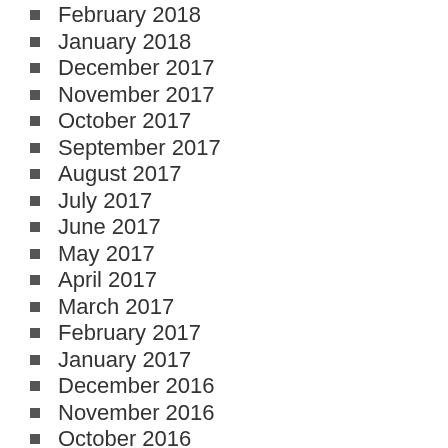February 2018
January 2018
December 2017
November 2017
October 2017
September 2017
August 2017
July 2017
June 2017
May 2017
April 2017
March 2017
February 2017
January 2017
December 2016
November 2016
October 2016